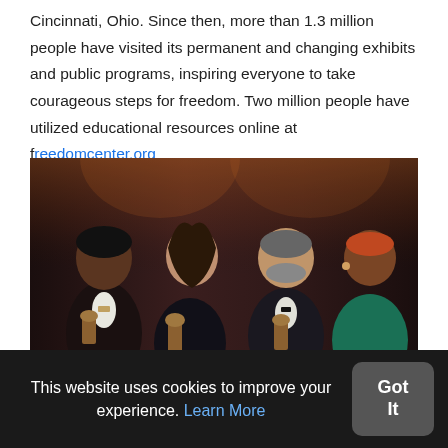Cincinnati, Ohio. Since then, more than 1.3 million people have visited its permanent and changing exhibits and public programs, inspiring everyone to take courageous steps for freedom. Two million people have utilized educational resources online at freedomcenter.org
[Figure (photo): Four people standing on a stage at a formal event. Two women and two men, two of whom are holding awards/trophies. The people are dressed in formal evening wear. Background is a dark curtain.]
This website uses cookies to improve your experience. Learn More